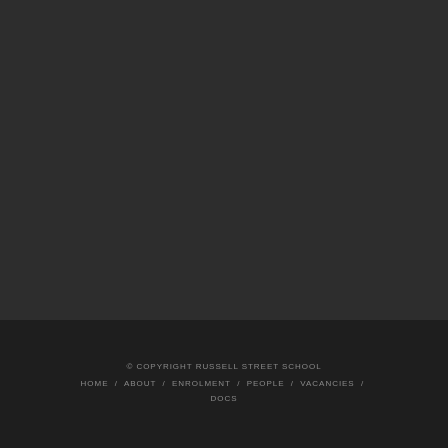© COPYRIGHT RUSSELL STREET SCHOOL
HOME / ABOUT / ENROLMENT / PEOPLE / VACANCIES / DOCS